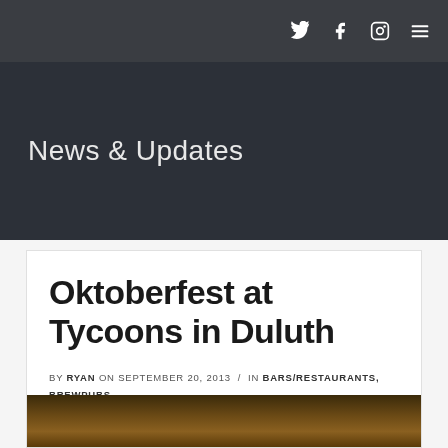Twitter, Facebook, Instagram, Menu icons
News & Updates
Oktoberfest at Tycoons in Duluth
BY RYAN ON SEPTEMBER 20, 2013 / IN BARS/RESTAURANTS, BREWPUBS
[Figure (photo): Interior photo of Tycoons bar in Duluth, showing warm lighting with pendant lamp]